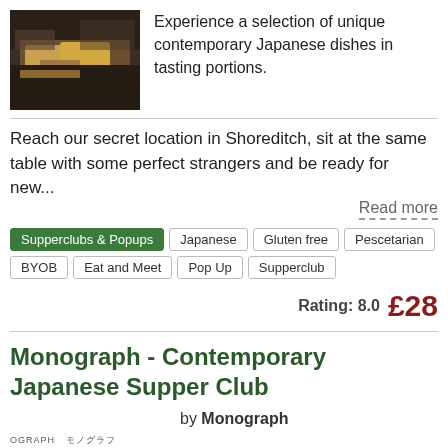[Figure (photo): Photo of Japanese food dishes on a table in a restaurant setting]
Experience a selection of unique contemporary Japanese dishes in tasting portions.
Reach our secret location in Shoreditch, sit at the same table with some perfect strangers and be ready for new...
Read more
Supperclubs & Popups
Japanese
Gluten free
Pescetarian
BYOB
Eat and Meet
Pop Up
Supperclub
Rating: 8.0   £28
Monograph - Contemporary Japanese Supper Club
by Monograph
OGRAPH モノグラフ
2014 / BROKEn 疲れた